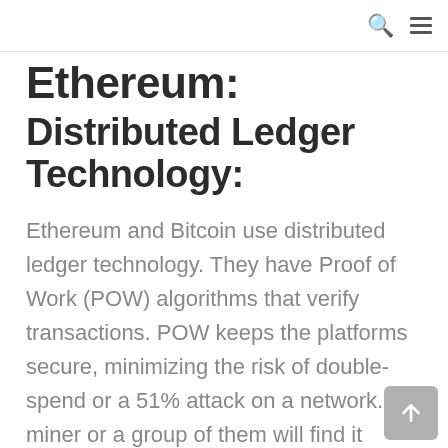Ethereum: Distributed Ledger Technology:
Ethereum and Bitcoin use distributed ledger technology. They have Proof of Work (POW) algorithms that verify transactions. POW keeps the platforms secure, minimizing the risk of double-spend or a 51% attack on a network. A miner or a group of them will find it impractical to raise a